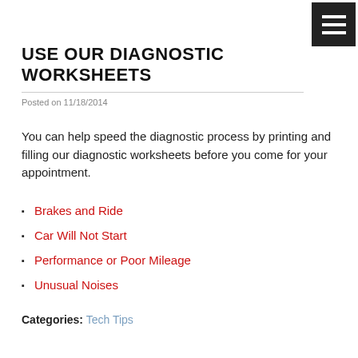USE OUR DIAGNOSTIC WORKSHEETS
Posted on 11/18/2014
You can help speed the diagnostic process by printing and filling our diagnostic worksheets before you come for your appointment.
Brakes and Ride
Car Will Not Start
Performance or Poor Mileage
Unusual Noises
Categories: Tech Tips